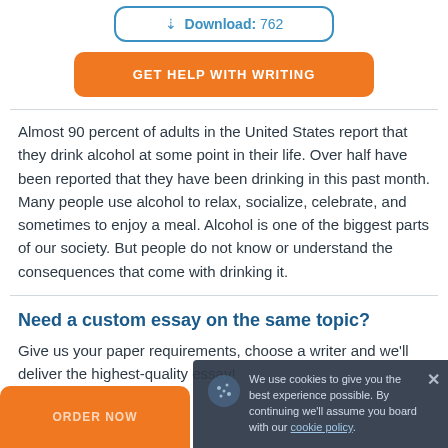[Figure (other): Download button with icon showing download count 762]
[Figure (other): Orange GET HELP WITH WRITING button]
Almost 90 percent of adults in the United States report that they drink alcohol at some point in their life. Over half have been reported that they have been drinking in this past month. Many people use alcohol to relax, socialize, celebrate, and sometimes to enjoy a meal. Alcohol is one of the biggest parts of our society. But people do not know or understand the consequences that come with drinking it.
Need a custom essay on the same topic?
Give us your paper requirements, choose a writer and we'll deliver the highest-quality essay!
[Figure (other): Orange ORDER NOW button (partially visible)]
[Figure (other): Cookie consent bar with cookie icon, text about cookie policy, and close button]